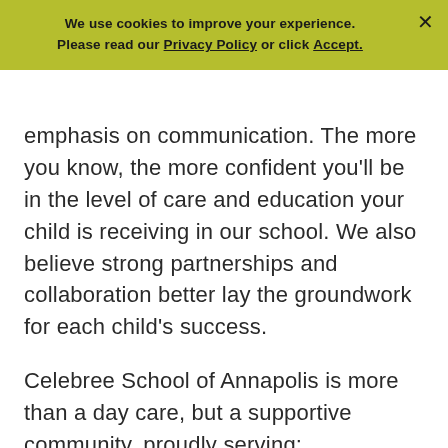We use cookies to improve your experience. Please read our Privacy Policy or click Accept.
emphasis on communication. The more you know, the more confident you'll be in the level of care and education your child is receiving in our school. We also believe strong partnerships and collaboration better lay the groundwork for each child's success.
Celebree School of Annapolis is more than a day care, but a supportive community, proudly serving:
Edgewater